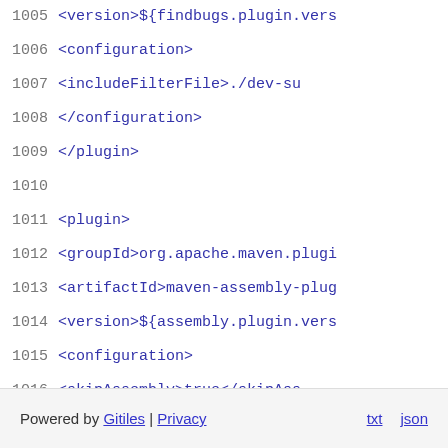1005  <version>${findbugs.plugin.vers
1006      <configuration>
1007          <includeFilterFile>./dev-su
1008      </configuration>
1009  </plugin>
1010
1011  <plugin>
1012      <groupId>org.apache.maven.plugi
1013      <artifactId>maven-assembly-plug
1014      <version>${assembly.plugin.vers
1015      <configuration>
1016          <skipAssembly>true</skipAss
1017      </configuration>
1018  </plugin>
1019  </plugins>
1020  </build>
1021  </project>
Powered by Gitiles | Privacy    txt  json